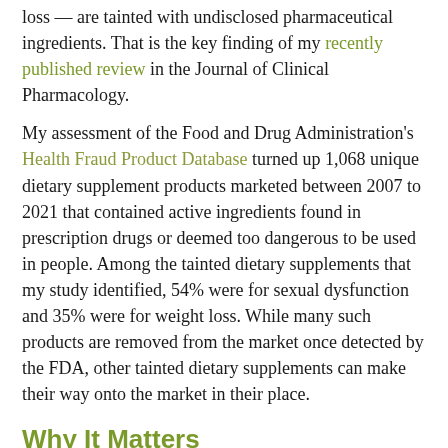loss — are tainted with undisclosed pharmaceutical ingredients. That is the key finding of my recently published review in the Journal of Clinical Pharmacology.
My assessment of the Food and Drug Administration's Health Fraud Product Database turned up 1,068 unique dietary supplement products marketed between 2007 to 2021 that contained active ingredients found in prescription drugs or deemed too dangerous to be used in people. Among the tainted dietary supplements that my study identified, 54% were for sexual dysfunction and 35% were for weight loss. While many such products are removed from the market once detected by the FDA, other tainted dietary supplements can make their way onto the market in their place.
Why It Matters
Dietary supplements are used by 58% of U.S. adults. And according to recent surveys from the Council for